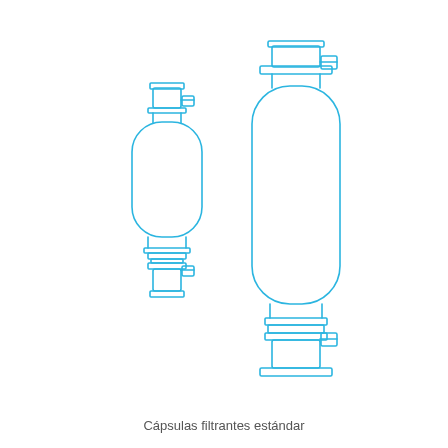[Figure (engineering-diagram): Line drawing of two standard filter capsules (Cápsulas filtrantes estándar). The smaller capsule on the left has a top threaded inlet port with side vent valve, a squat cylindrical body, and a bottom threaded outlet port with side vent valve. The larger capsule on the right has a top flanged inlet port with side vent valve, a tall cylindrical body, and a bottom flanged outlet port with side vent valve. Both are drawn with blue outline strokes on a white background.]
Cápsulas filtrantes estándar